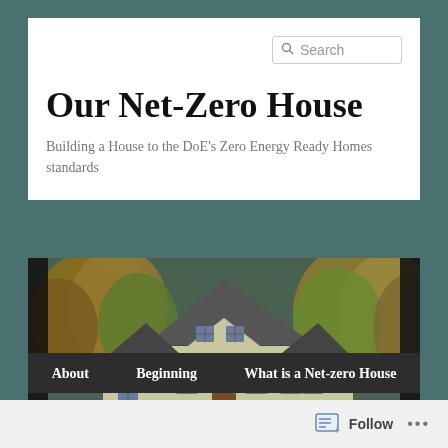Our Net-Zero House
Building a House to the DoE's Zero Energy Ready Homes standards
[Figure (illustration): 3D rendering of a two-story house with light beige/tan siding, dark gray roof, brown front door, multiple windows with blue trim, surrounded by autumn-colored trees and yellow flowering shrubs in the foreground]
About
Beginning
What is a Net-zero House
Follow ...